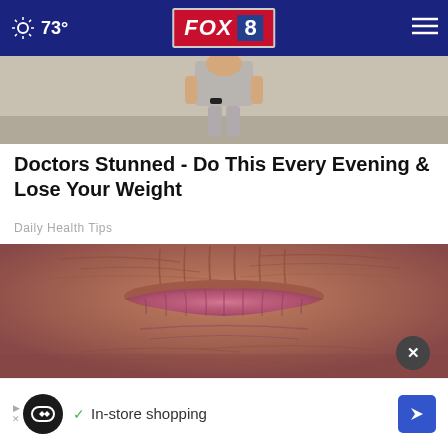73° FOX 8
[Figure (photo): Partial view of a person standing outdoors, torso and legs visible, wearing a gray shirt and black wristband]
Doctors Stunned - Do This Every Evening & Lose Your Weight
Daily Health Tips
[Figure (photo): Close-up extreme macro photograph of elderly human lips, heavily wrinkled skin surrounding the mouth]
In-store shopping